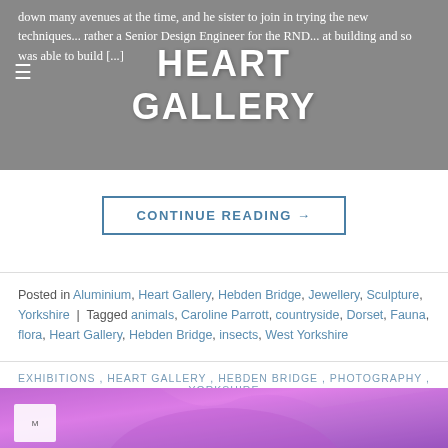HEART GALLERY
down many avenues at the time, and he sister to join in trying the new techniques... rather a Senior Design Engineer for the RND... at building and so was able to build [...]
CONTINUE READING →
Posted in Aluminium, Heart Gallery, Hebden Bridge, Jewellery, Sculpture, Yorkshire | Tagged animals, Caroline Parrott, countryside, Dorset, Fauna, flora, Heart Gallery, Hebden Bridge, insects, West Yorkshire
EXHIBITIONS , HEART GALLERY , HEBDEN BRIDGE , PHOTOGRAPHY , YORKSHIRE
Meet The Maker – Emily Barker
POSTED ON 26TH FEBRUARY 2017 BY HEART GALLERY
[Figure (photo): Purple/pink toned photo strip at the bottom of the page, showing a partial view of a person with flowing hair against a purple background. A small white badge is visible in the lower left.]